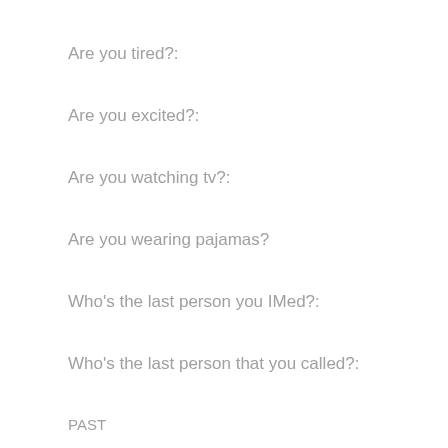Are you tired?:
Are you excited?:
Are you watching tv?:
Are you wearing pajamas?
Who's the last person you IMed?:
Who's the last person that you called?:
PAST
Ever stuck gum under a desk?: